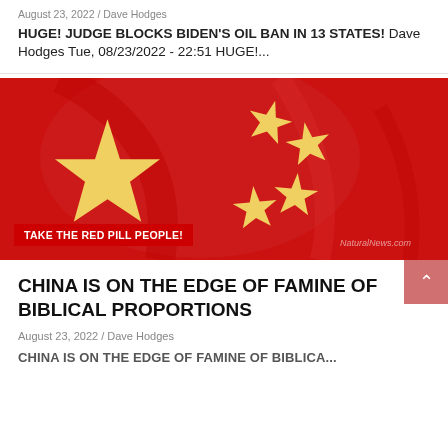August 23, 2022 / Dave Hodges
HUGE! JUDGE BLOCKS BIDEN'S OIL BAN IN 13 STATES! Dave Hodges Tue, 08/23/2022 - 22:51 HUGE!...
[Figure (photo): Close-up photograph of the Chinese national flag (Five-star Red Flag) with large yellow star and four smaller stars on red background, with a red overlay badge reading 'TAKE THE RED PILL PEOPLE!' and a NaturalNews.com watermark]
CHINA IS ON THE EDGE OF FAMINE OF BIBLICAL PROPORTIONS
August 23, 2022 / Dave Hodges
CHINA IS ON THE EDGE OF FAMINE OF BIBLICA...